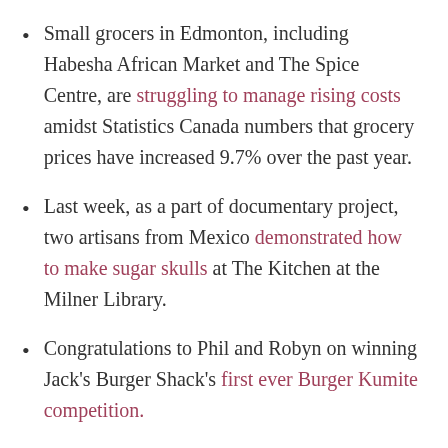Small grocers in Edmonton, including Habesha African Market and The Spice Centre, are struggling to manage rising costs amidst Statistics Canada numbers that grocery prices have increased 9.7% over the past year.
Last week, as a part of documentary project, two artisans from Mexico demonstrated how to make sugar skulls at The Kitchen at the Milner Library.
Congratulations to Phil and Robyn on winning Jack’s Burger Shack’s first ever Burger Kumite competition.
A local student from St. Joseph Catholic High School won gold in cooking at a Skills Canada competition in May.